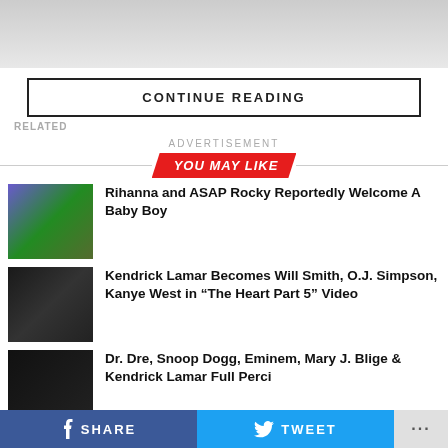[Figure (photo): Gray banner/image at top of page]
CONTINUE READING
RELATED
ADVERTISEMENT
YOU MAY LIKE
[Figure (photo): Rihanna and ASAP Rocky photo thumbnail]
Rihanna and ASAP Rocky Reportedly Welcome A Baby Boy
[Figure (photo): Kendrick Lamar photo thumbnail]
Kendrick Lamar Becomes Will Smith, O.J. Simpson, Kanye West in “The Heart Part 5” Video
[Figure (photo): Dr. Dre, Snoop Dogg, Eminem photo thumbnail]
Dr. Dre, Snoop Dogg, Eminem, Mary J. Blige & Kendrick Lamar Full Perci
SHARE   TWEET   ...